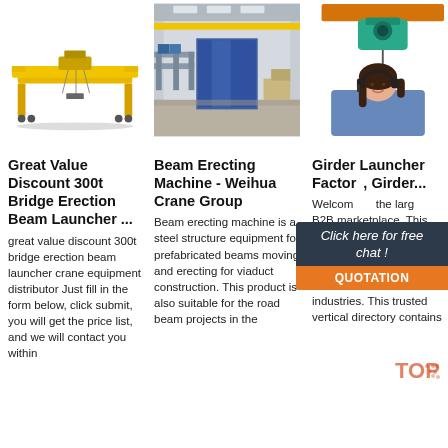[Figure (photo): Yellow double-girder bridge erection crane/beam launcher equipment on white background]
[Figure (photo): Interior of industrial warehouse with yellow overhead crane, blue door, and storage equipment]
[Figure (photo): 24/7 Online customer service composite: green electric hoist above, woman with headset below, chat widget overlay]
Great Value Discount 300t Bridge Erection Beam Launcher ...
great value discount 300t bridge erection beam launcher crane equipment distributor Just fill in the form below, click submit, you will get the price list, and we will contact you within
Beam Erecting Machine - Weihua Crane Group
Beam erecting machine is a steel structure equipment for prefabricated beams moving and erecting for viaduct construction. This product is also suitable for the road beam projects in the
Girder Launcher Factory, Girder...
Welcome to the largest B2B marketplace. This girder launcher company list contains a wide range of girder launcher factories serving all industries. This trusted vertical directory contains